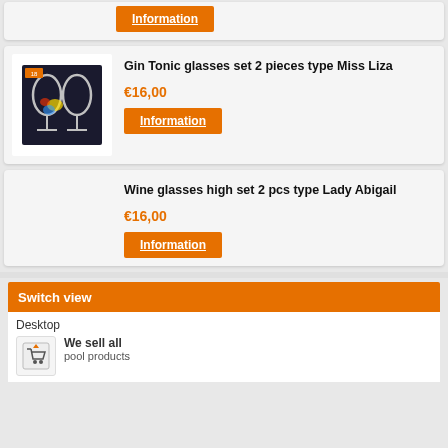[Figure (screenshot): Partial top product card showing an Information button on orange background]
Gin Tonic glasses set 2 pieces type Miss Liza
€16,00
Information
Wine glasses high set 2 pcs type Lady Abigail
€16,00
Information
Switch view
Desktop
We sell all pool products